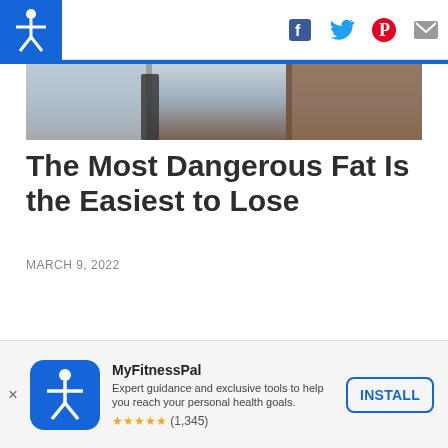MyFitnessPal
[Figure (photo): Partial photo of a person's torso and lower body, blurred background with window light]
The Most Dangerous Fat Is the Easiest to Lose
MARCH 9, 2022
VIEW COMMENTS
MyFitnessPal
Expert guidance and exclusive tools to help you reach your personal health goals.
★★★★★ (1,345)